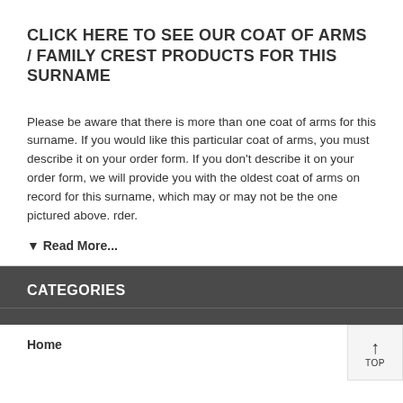CLICK HERE TO SEE OUR COAT OF ARMS / FAMILY CREST PRODUCTS FOR THIS SURNAME
Please be aware that there is more than one coat of arms for this surname. If you would like this particular coat of arms, you must describe it on your order form. If you don't describe it on your order form, we will provide you with the oldest coat of arms on record for this surname, which may or may not be the one pictured above. rder.
▼ Read More...
CATEGORIES
Home